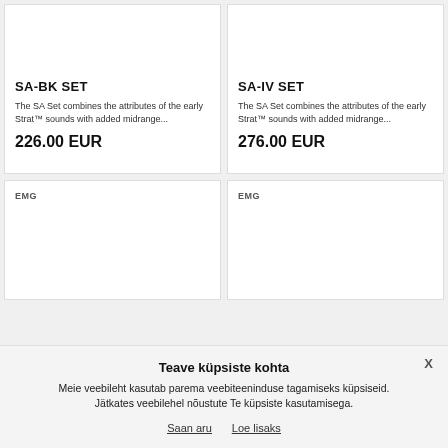SA-BK SET
The SA Set combines the attributes of the early Strat™ sounds with added midrange...
226.00 EUR
SA-IV SET
The SA Set combines the attributes of the early Strat™ sounds with added midrange...
276.00 EUR
EMG
EMG
Teave küpsiste kohta
Meie veebileht kasutab parema veebiteeninduse tagamiseks küpsiseid. Jätkates veebilehel nõustute Te küpsiste kasutamisega.
Saan aru
Loe lisaks